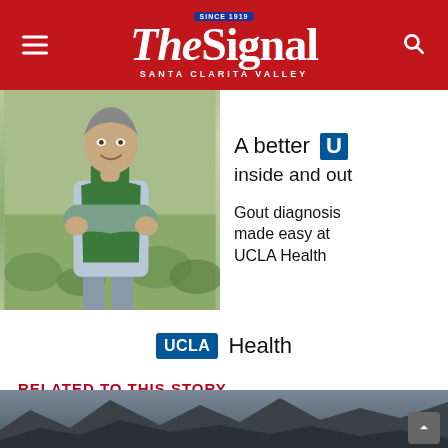The Signal — Santa Clarita Valley
[Figure (photo): Advertisement banner for UCLA Health featuring a man in a green apron with text 'A better U inside and out' and 'Gout diagnosis made easy at UCLA Health' with UCLA Health logo]
RELATED TO THIS STORY
[Figure (photo): Partial landscape/mountain photo at the bottom of the page]